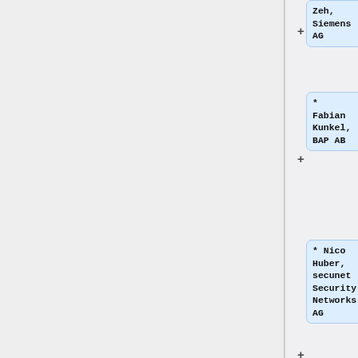* Zeh, Siemens AG
* Fabian Kunkel, BAP AB
* Nico Huber, secunet Security Networks AG
* Marc Jones, MJC
* ~30 other participants so far, waiting for OK to list them here